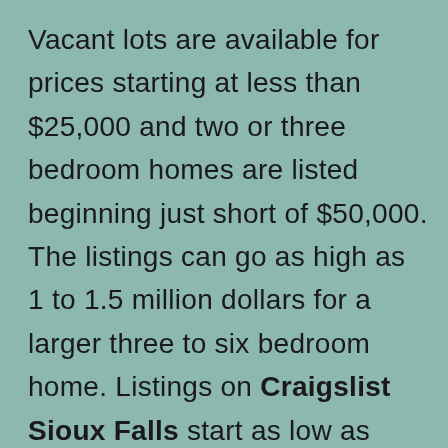Vacant lots are available for prices starting at less than $25,000 and two or three bedroom homes are listed beginning just short of $50,000. The listings can go as high as 1 to 1.5 million dollars for a larger three to six bedroom home. Listings on Craigslist Sioux Falls start as low as $75,000 or less for a two bedroom house and go up to almost 1 million dollars for four to six bedroom homes. The Zillow Sioux Falls rent index is $1150, and the median rent is $1085. A one bedroom apartment starts renting for around $500 per month while a four to six bedroom house can